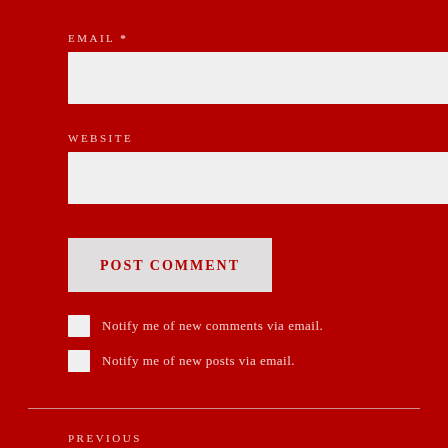EMAIL *
[Figure (other): Empty white text input field for email]
WEBSITE
[Figure (other): Empty white text input field for website]
[Figure (other): POST COMMENT button with light gray background and red text]
Notify me of new comments via email.
Notify me of new posts via email.
PREVIOUS